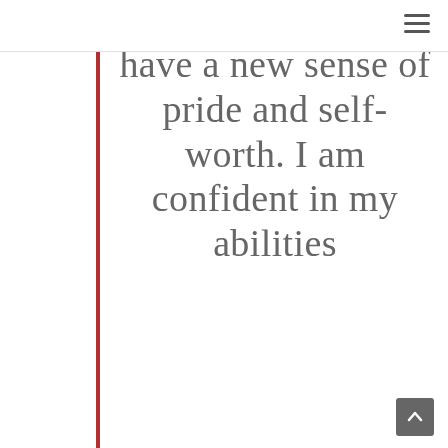have a new sense of pride and self-worth. I am confident in my abilities